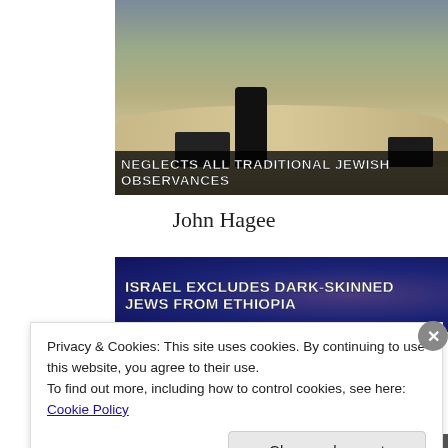[Figure (photo): Photo of people on a stage or podium at what appears to be a religious event or conference, with speakers and audience visible. Overlay text reads: NEGLECTS ALL TRADITIONAL JEWISH OBSERVANCES]
John Hagee
[Figure (photo): Image with dark blue/purple background and bold white text reading: ISRAEL EXCLUDES DARK-SKINNED JEWS FROM ETHIOPIA]
Privacy & Cookies: This site uses cookies. By continuing to use this website, you agree to their use.
To find out more, including how to control cookies, see here: Cookie Policy
Close and accept